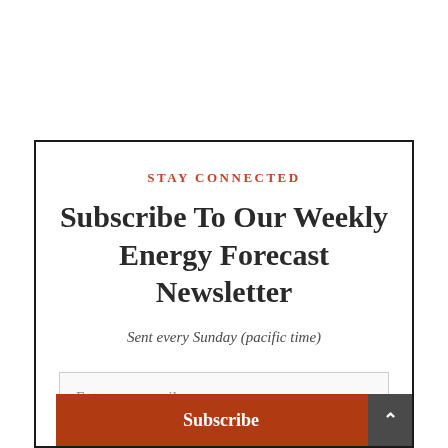STAY CONNECTED
Subscribe To Our Weekly Energy Forecast Newsletter
Sent every Sunday (pacific time)
Enter your email...
Subscribe